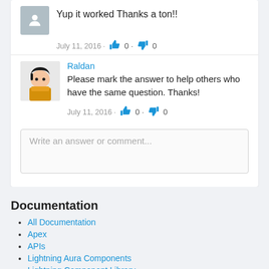Yup it worked Thanks a ton!!
July 11, 2016 · 👍 0 · 👎 0
Raldan
Please mark the answer to help others who have the same question. Thanks!
July 11, 2016 · 👍 0 · 👎 0
Write an answer or comment...
Documentation
All Documentation
Apex
APIs
Lightning Aura Components
Lightning Component Library
Developer Centers